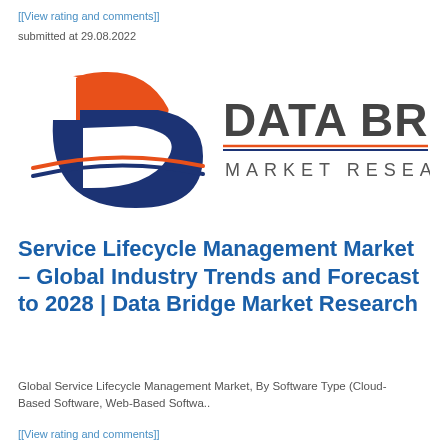[[View rating and comments]]
submitted at 29.08.2022
[Figure (logo): Data Bridge Market Research logo — orange and navy blue stylized 'b'/'d' emblem on the left, with 'DATA BRIDGE' in large dark gray letters and 'MARKET RESEARCH' in spaced smaller letters on the right, separated by an orange and blue horizontal line.]
Service Lifecycle Management Market – Global Industry Trends and Forecast to 2028 | Data Bridge Market Research
Global Service Lifecycle Management Market, By Software Type (Cloud-Based Software, Web-Based Softwa..
[[View rating and comments]]